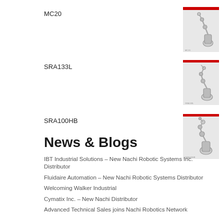MC20
[Figure (photo): Thumbnail image of MC20 industrial robot arm]
SRA133L
[Figure (photo): Thumbnail image of SRA133L industrial robot arm]
SRA100HB
[Figure (photo): Thumbnail image of SRA100HB industrial robot arm]
News & Blogs
IBT Industrial Solutions – New Nachi Robotic Systems Inc. Distributor
Fluidaire Automation – New Nachi Robotic Systems Distributor
Welcoming Walker Industrial
Cymatix Inc. – New Nachi Distributor
Advanced Technical Sales joins Nachi Robotics Network